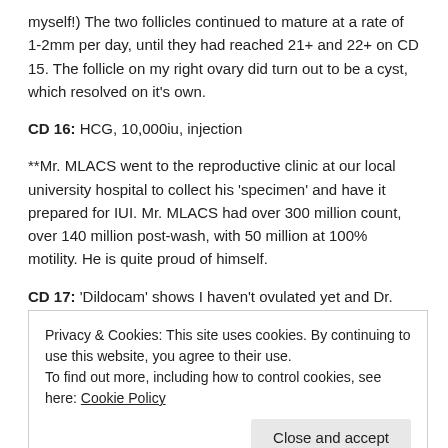myself!) The two follicles continued to mature at a rate of 1-2mm per day, until they had reached 21+ and 22+ on CD 15. The follicle on my right ovary did turn out to be a cyst, which resolved on it's own.
CD 16: HCG, 10,000iu, injection
**Mr. MLACS went to the reproductive clinic at our local university hospital to collect his 'specimen' and have it prepared for IUI. Mr. MLACS had over 300 million count, over 140 million post-wash, with 50 million at 100% motility. He is quite proud of himself.
CD 17: 'Dildocam' shows I haven't ovulated yet and Dr. Angel performs my IUI with Mr. MLACS's 'super sperm'. We are instructed to
Privacy & Cookies: This site uses cookies. By continuing to use this website, you agree to their use.
To find out more, including how to control cookies, see here: Cookie Policy
go and see Dr. Angel fairly early in the morning and discover that